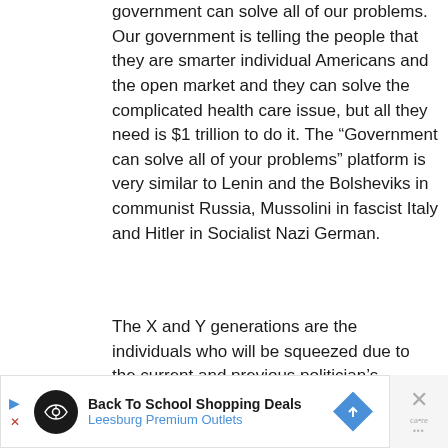government can solve all of our problems. Our government is telling the people that they are smarter individual Americans and the open market and they can solve the complicated health care issue, but all they need is $1 trillion to do it. The “Government can solve all of your problems” platform is very similar to Lenin and the Bolsheviks in communist Russia, Mussolini in fascist Italy and Hitler in Socialist Nazi German.
The X and Y generations are the individuals who will be squeezed due to the current and previous politician’s impotence to solve problems. Individuals who read blogs like this are the ones who have to sacrifice since they took their financial matters in their own hands and will be told that they will need to take…
[Figure (other): Advertisement banner for Back To School Shopping Deals at Leesburg Premium Outlets with navigation arrows and close button]